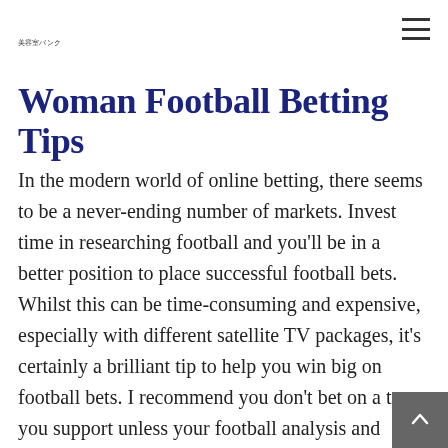美容室バンク
Woman Football Betting Tips
In the modern world of online betting, there seems to be a never-ending number of markets. Invest time in researching football and you'll be in a better position to place successful football bets. Whilst this can be time-consuming and expensive, especially with different satellite TV packages, it's certainly a brilliant tip to help you win big on football bets. I recommend you don't bet on a team you support unless your football analysis and research suggests you